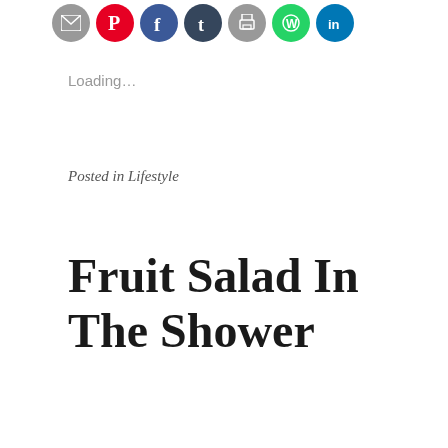[Figure (other): Row of social sharing icon circles: email (gray), Pinterest (red), Facebook (blue), Tumblr (navy), print (gray), WhatsApp (green), LinkedIn (blue)]
Loading...
Posted in Lifestyle
Fruit Salad In The Shower
Aug 9, 2017
11 Comments
Hello everybody and welcome back to my blog! I don't know about you, but I have recently